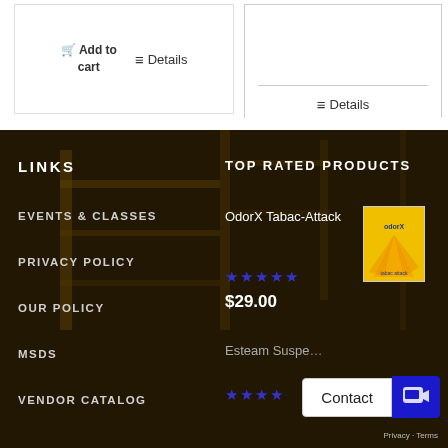Add to cart
Details
Details
LINKS
EVENTS & CLASSES
PRIVACY POLICY
OUR POLICY
MSDS
VENDOR CATALOG
TOP RATED PRODUCTS
OdorX Tabac-Attack
$29.00
Esteam Suspe…
Contact
Privacy · Terms